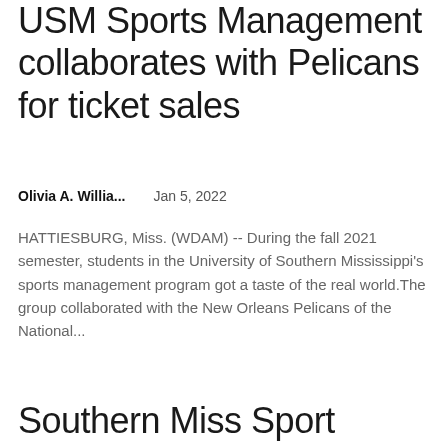USM Sports Management collaborates with Pelicans for ticket sales
Olivia A. Willia...    Jan 5, 2022
HATTIESBURG, Miss. (WDAM) -- During the fall 2021 semester, students in the University of Southern Mississippi's sports management program got a taste of the real world.The group collaborated with the New Orleans Pelicans of the National...
Southern Miss Sport